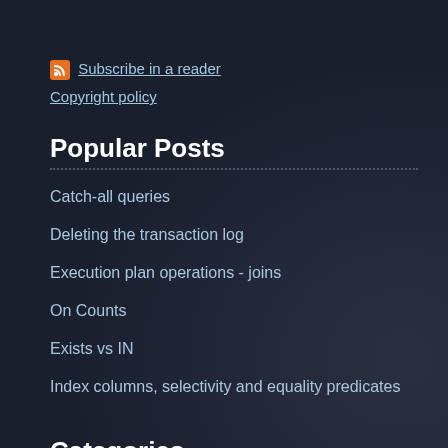Subscribe in a reader
Copyright policy
Popular Posts
Catch-all queries
Deleting the transaction log
Execution plan operations - joins
On Counts
Exists vs IN
Index columns, selectivity and equality predicates
Categories
SQL Server
Admin
Corruption